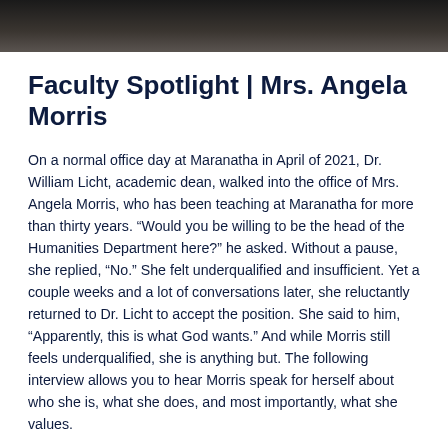[Figure (photo): Partial photo of Mrs. Angela Morris, cropped at the top of the page, dark background visible.]
Faculty Spotlight | Mrs. Angela Morris
On a normal office day at Maranatha in April of 2021, Dr. William Licht, academic dean, walked into the office of Mrs. Angela Morris, who has been teaching at Maranatha for more than thirty years. “Would you be willing to be the head of the Humanities Department here?” he asked. Without a pause, she replied, “No.” She felt underqualified and insufficient. Yet a couple weeks and a lot of conversations later, she reluctantly returned to Dr. Licht to accept the position. She said to him, “Apparently, this is what God wants.” And while Morris still feels underqualified, she is anything but. The following interview allows you to hear Morris speak for herself about who she is, what she does, and most importantly, what she values.